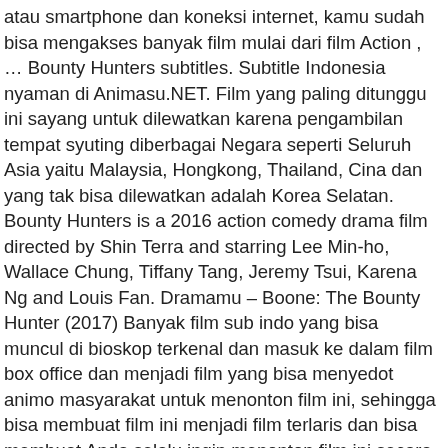atau smartphone dan koneksi internet, kamu sudah bisa mengakses banyak film mulai dari film Action , … Bounty Hunters subtitles. Subtitle Indonesia nyaman di Animasu.NET. Film yang paling ditunggu ini sayang untuk dilewatkan karena pengambilan tempat syuting diberbagai Negara seperti Seluruh Asia yaitu Malaysia, Hongkong, Thailand, Cina dan yang tak bisa dilewatkan adalah Korea Selatan. Bounty Hunters is a 2016 action comedy drama film directed by Shin Terra and starring Lee Min-ho, Wallace Chung, Tiffany Tang, Jeremy Tsui, Karena Ng and Louis Fan. Dramamu – Boone: The Bounty Hunter (2017) Banyak film sub indo yang bisa muncul di bioskop terkenal dan masuk ke dalam film box office dan menjadi film yang bisa menyedot animo masyarakat untuk menonton film ini, sehingga bisa membuat film ini menjadi film terlaris dan bisa membuat Anda selalu ingin menonton film ini secara terus menerus. Nikmati nonton Mononoke Hime [Princess Mononoke] subtitle Indonesia kualitas FULL HD 1080p, 720p, 480p dan bisa langsung di download dengan nyaman tanpa